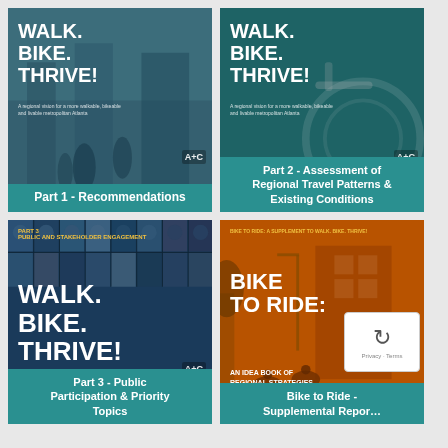[Figure (illustration): Walk. Bike. Thrive! Part 1 - Recommendations document cover with teal background and pedestrians]
Part 1 - Recommendations
[Figure (illustration): Walk. Bike. Thrive! Part 2 - Assessment of Regional Travel Patterns & Existing Conditions cover with teal/bicycle image]
Part 2 - Assessment of Regional Travel Patterns & Existing Conditions
[Figure (illustration): Walk. Bike. Thrive! Part 3 - Public Participation & Priority Topics cover with dark blue background and people photo grid]
Part 3 - Public Participation & Priority Topics
[Figure (illustration): Bike to Ride: An Idea Book of Regional Strategies for Improving Bicycling Access to Transit - orange cover with cyclists]
Bike to Ride - Supplemental Report